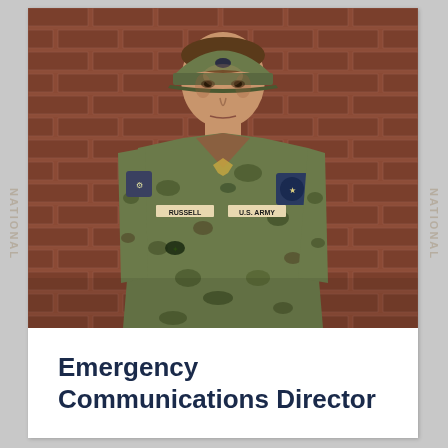[Figure (photo): A person in US Army camouflage (OCP/MultiCam) uniform with rank insignia of Lieutenant Colonel (oak leaf), name tape, US ARMY tape, and unit patch on the sleeve, standing in front of a brick wall.]
Emergency Communications Director